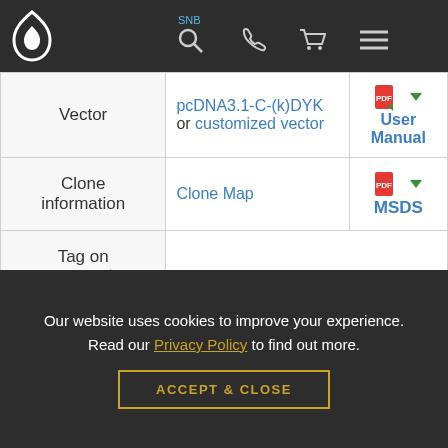SNB (navigation bar with logo, search, phone, cart, menu icons)
| Label | Value | Document |
| --- | --- | --- |
| Vector | pcDNA3.1-C-(k)DYK or customized vector | User Manual |
| Clone information | Clone Map | MSDS |
| Tag on pcDNA3.1+/C-(K)DYK | C terminal DYKDDDDK tags |  |
| ORF Insert Method | CloneEZ™ Seamless cloning technology |  |
Our website uses cookies to improve your experience. Read our Privacy Policy to find out more.
ACCEPT & CLOSE